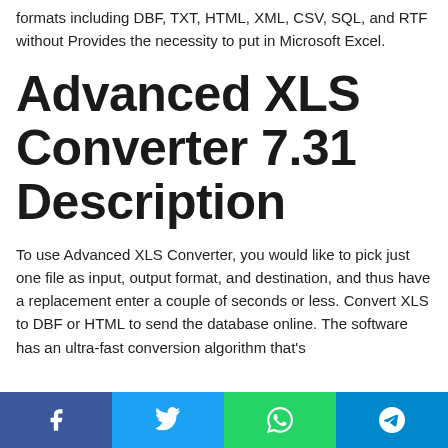formats including DBF, TXT, HTML, XML, CSV, SQL, and RTF without Provides the necessity to put in Microsoft Excel.
Advanced XLS Converter 7.31 Description
To use Advanced XLS Converter, you would like to pick just one file as input, output format, and destination, and thus have a replacement enter a couple of seconds or less. Convert XLS to DBF or HTML to send the database online. The software has an ultra-fast conversion algorithm that's